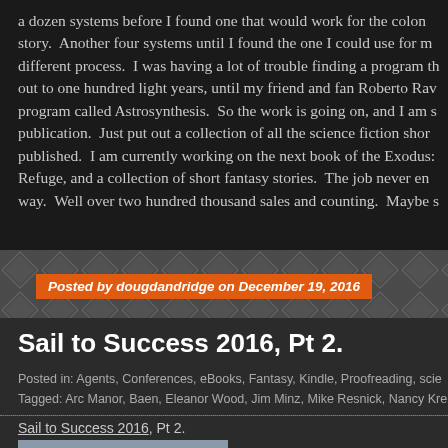a dozen systems before I found one that would work for the colon story. Another four systems until I found the one I could use for m different process. I was having a lot of trouble finding a program th out to one hundred light years, until my friend and fan Roberto Rav program called Astrosynthesis. So the work is going on, and I am s publication. Just put out a collection of all the science fiction shor published. I am currently working on the next book of the Exodus: Refuge, and a collection of short fantasy stories. The job never en way. Well over two hundred thousand sales and counting. Maybe s
Posted by dougdandridge on December 19, 2016
Sail to Success 2016, Pt 2.
Posted in: Agents, Conferences, eBooks, Fantasy, Kindle, Proofreading, sce
Tagged: Arc Manor, Baen, Eleanor Wood, Jim Minz, Mike Resnick, Nancy Kre
Sail to Success 2016, Pt 2.
[Figure (photo): Top portion of a photograph visible at the bottom of the page]